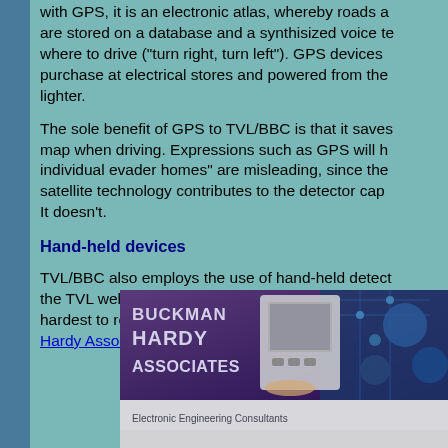with GPS, it is an electronic atlas, whereby roads are stored on a database and a synthisized voice tells where to drive ("turn right, turn left"). GPS devices purchase at electrical stores and powered from the lighter.
The sole benefit of GPS to TVL/BBC is that it saves map when driving. Expressions such as GPS will help individual evader homes" are misleading, since the satellite technology contributes to the detector cap. It doesn't.
Hand-held devices
TVL/BBC also employs the use of hand-held detectors. On the TVL website, they make it "...easy for us to locate you in the hardest to reach places". These devices are produced by Hardy Associates; here is a scan from their website:
[Figure (screenshot): Screenshot of Buckman Hardy Associates website banner showing 'BUCKMAN HARDY ASSOCIATES Electronic Engineering Consultants' with an image of a hand-held device and circuit board imagery]